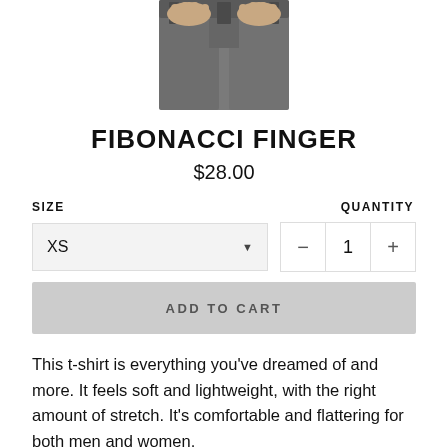[Figure (photo): Cropped photo of a person wearing dark gray jeans, showing the lower torso with hands on the waistband.]
FIBONACCI FINGER
$28.00
SIZE
QUANTITY
XS
1
ADD TO CART
This t-shirt is everything you've dreamed of and more. It feels soft and lightweight, with the right amount of stretch. It's comfortable and flattering for both men and women.